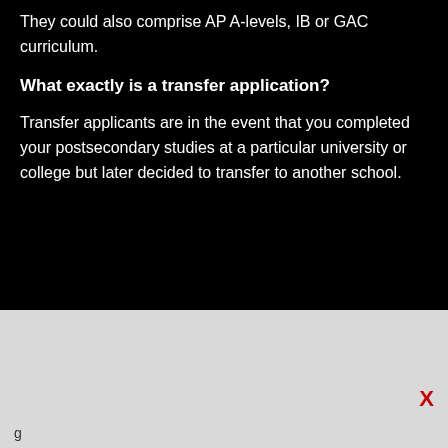They could also comprise AP A-levels, IB or GAC curriculum.
What exactly is a transfer application?
Transfer applicants are in the event that you completed your postsecondary studies at a particular university or college but later decided to transfer to another school.
g